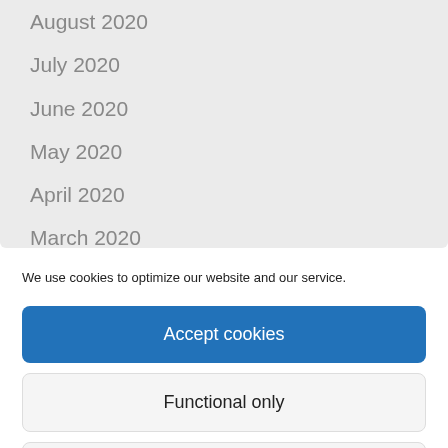August 2020
July 2020
June 2020
May 2020
April 2020
March 2020
February 2020
We use cookies to optimize our website and our service.
Accept cookies
Functional only
View preferences